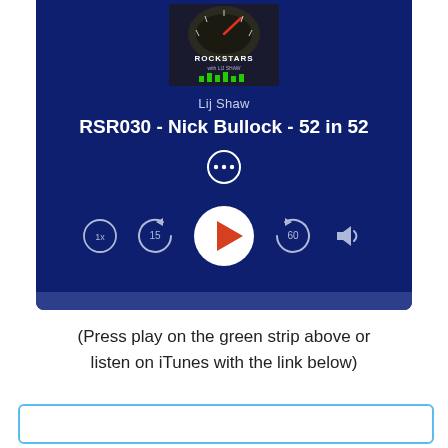[Figure (screenshot): Podcast player screenshot showing album art for 'Real Estate Radio Rockstars with Lij Shaw', artist name 'Lij Shaw', episode title 'RSR030 - Nick Bullock - 52 in 52', a more options button (three dots), playback controls including speed (1x), skip back 15s, play button, skip forward 60s, and volume, on a dark blue background.]
(Press play on the green strip above or listen on iTunes with the link below)